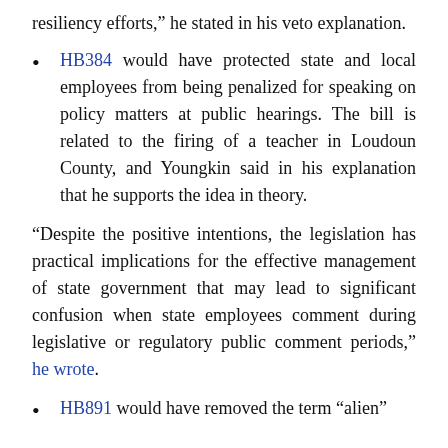resiliency efforts,” he stated in his veto explanation.
HB384 would have protected state and local employees from being penalized for speaking on policy matters at public hearings. The bill is related to the firing of a teacher in Loudoun County, and Youngkin said in his explanation that he supports the idea in theory.
“Despite the positive intentions, the legislation has practical implications for the effective management of state government that may lead to significant confusion when state employees comment during legislative or regulatory public comment periods,” he wrote.
HB891 would have removed the term “alien”